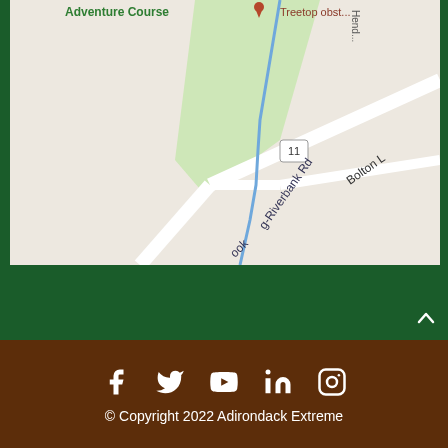[Figure (map): Google Maps screenshot showing a road map with Adventure Course label, Treetop obstacle marker, Henderson road, Bolton Lane, Route 11 marker, Riverbank Rd label, and a blue route line on light gray map background with green park area.]
[Figure (infographic): Social media icons row: Facebook, Twitter, YouTube, LinkedIn, Instagram — all white on dark brown background]
© Copyright 2022 Adirondack Extreme